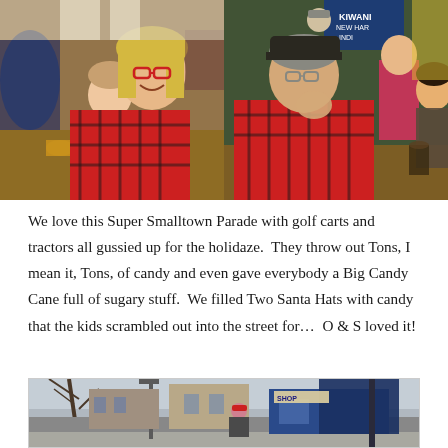[Figure (photo): Two side-by-side photos: left photo shows a woman with blonde hair and red glasses wearing a red plaid shirt sitting at a restaurant table with a young girl leaning on her; right photo shows an older man in a red plaid shirt and dark cap seated at a table in what appears to a meeting hall, with other people in the background including a girl smiling on the right.]
We love this Super Smalltown Parade with golf carts and tractors all gussied up for the holidaze.  They throw out Tons, I mean it, Tons, of candy and even gave everybody a Big Candy Cane full of sugary stuff.  We filled Two Santa Hats with candy that the kids scrambled out into the street for…  O & S loved it!
[Figure (photo): A street scene from a small town parade, showing people on a street with buildings in the background including a blue storefront. A person in a red hat is visible.]